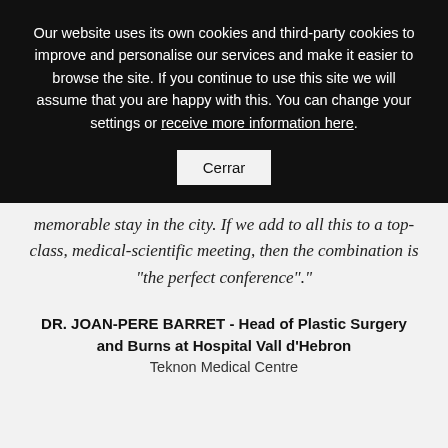Our website uses its own cookies and third-party cookies to improve and personalise our services and make it easier to browse the site. If you continue to use this site we will assume that you are happy with this. You can change your settings or receive more information here.
Cerrar
memorable stay in the city. If we add to all this to a top-class, medical-scientific meeting, then the combination is "the perfect conference"."
DR. JOAN-PERE BARRET - Head of Plastic Surgery and Burns at Hospital Vall d'Hebron
Teknon Medical Centre